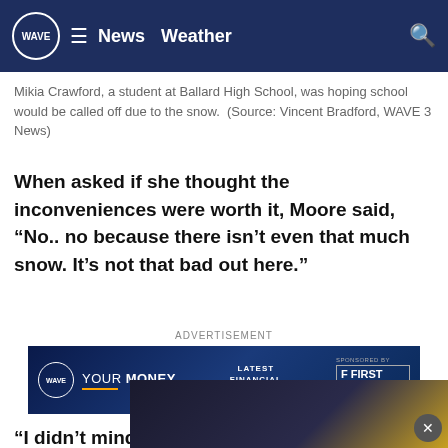WAVE  News  Weather
Mikia Crawford, a student at Ballard High School, was hoping school would be called off due to the snow.  (Source: Vincent Bradford, WAVE 3 News)
When asked if she thought the inconveniences were worth it, Moore said, “No.. no because there isn't even that much snow. It’s not that bad out here.”
ADVERTISEMENT
[Figure (screenshot): WAVE Your Money advertisement banner featuring WAVE logo, YOUR MONEY text with orange underline, LATEST FINANCIAL UPDATES text, and First Savings Financial Group, Inc. logo on dark blue background]
“I didn't mind I'm always in favor of relaxing a little longer,” said Lamonique Mason, a Byck Elementary parent. “I was asleep